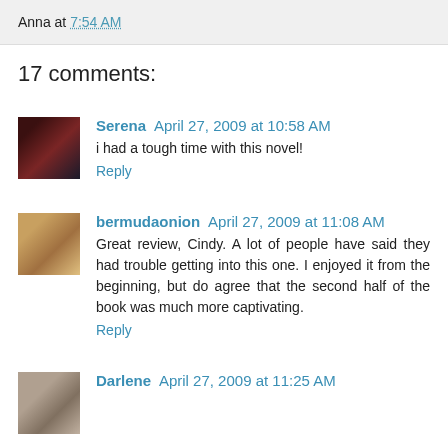Anna at 7:54 AM
17 comments:
Serena April 27, 2009 at 10:58 AM
i had a tough time with this novel!
Reply
bermudaonion April 27, 2009 at 11:08 AM
Great review, Cindy. A lot of people have said they had trouble getting into this one. I enjoyed it from the beginning, but do agree that the second half of the book was much more captivating.
Reply
Darlene April 27, 2009 at 11:25 AM